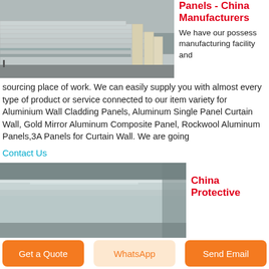[Figure (photo): Stacked aluminum/metal panels in a warehouse or factory setting, grey tones]
Panels - China Manufacturers
We have our possess manufacturing facility and sourcing place of work. We can easily supply you with almost every type of product or service connected to our item variety for Aluminium Wall Cladding Panels, Aluminum Single Panel Curtain Wall, Gold Mirror Aluminum Composite Panel, Rockwool Aluminum Panels,3A Panels for Curtain Wall. We are going
Contact Us
[Figure (photo): Shiny metallic aluminum panels close-up, silver grey reflective surface]
China Protective
Get a Quote
WhatsApp
Send Email